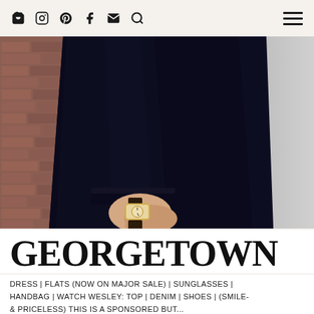Navigation header with icons: bag, instagram, pinterest, facebook, email, search, menu
[Figure (photo): Close-up photo of a person wearing a dark navy dress/coat with a long sleeve, showing their wrist and hand with a gold watch. Background includes a brick wall on the left and grey/blurred background on the right.]
GEORGETOWN
DRESS | FLATS (NOW ON MAJOR SALE) | SUNGLASSES | HANDBAG | WATCH WESLEY: TOP | DENIM | SHOES | (SMILE- & PRICELESS) this is a sponsored but...